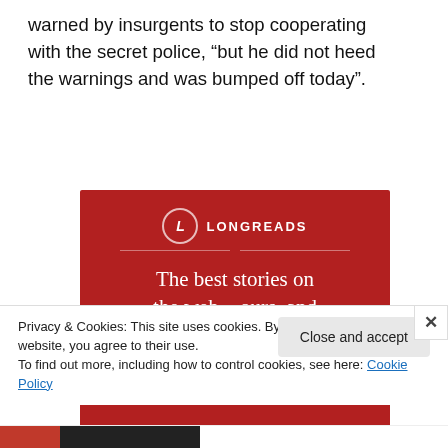warned by insurgents to stop cooperating with the secret police, “but he did not heed the warnings and was bumped off today”.
[Figure (illustration): Longreads advertisement on red background with logo, tagline 'The best stories on the web – ours, and everyone else’s.' and a 'Start reading' button]
Privacy & Cookies: This site uses cookies. By continuing to use this website, you agree to their use.
To find out more, including how to control cookies, see here: Cookie Policy
Close and accept